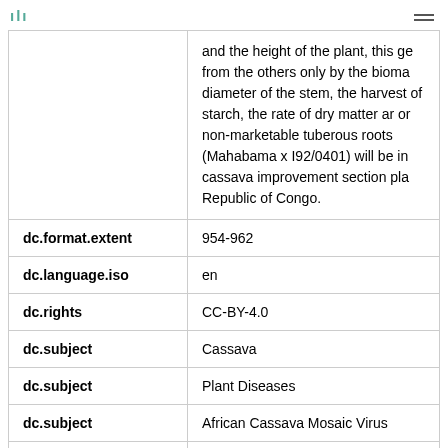| Field | Value |
| --- | --- |
|  | and the height of the plant, this ge from the others only by the bioma diameter of the stem, the harvest of starch, the rate of dry matter ar or non-marketable tuberous roots (Mahabama x I92/0401) will be in cassava improvement section pla Republic of Congo. |
| dc.format.extent | 954-962 |
| dc.language.iso | en |
| dc.rights | CC-BY-4.0 |
| dc.subject | Cassava |
| dc.subject | Plant Diseases |
| dc.subject | African Cassava Mosaic Virus |
| dc.subject | Varieties |